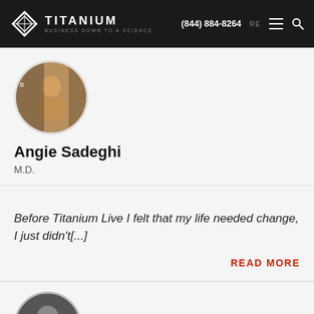TITANIUM — BUSINESS DOWN TO A SCIENCE | (844) 884-8264
[Figure (photo): Circular profile photo of Angie Sadeghi, a fitness competitor in a competition pose on stage]
Angie Sadeghi
M.D.
Before Titanium Live I felt that my life needed change, I just didn't[...]
READ MORE
[Figure (photo): Circular profile photo of a second person, shown in black and white, partially cropped at bottom of page]